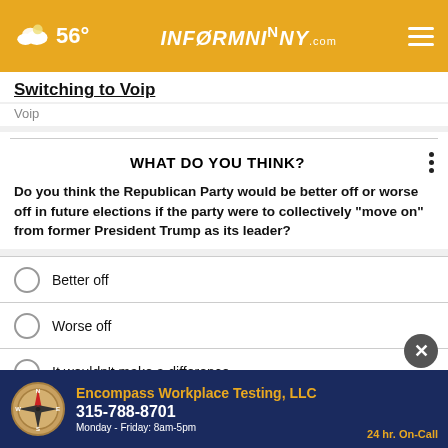56° INFORMNNY.com
Switching to Voip
Voip
WHAT DO YOU THINK?
Do you think the Republican Party would be better off or worse off in future elections if the party were to collectively "move on" from former President Trump as its leader?
Better off
Worse off
It wouldn't make a difference
Other / No opinion
[Figure (other): Advertisement banner for Encompass Workplace Testing LLC showing compass logo, phone number 315-788-8701, hours Monday-Friday 8am-5pm, 24 hr. On-Call]